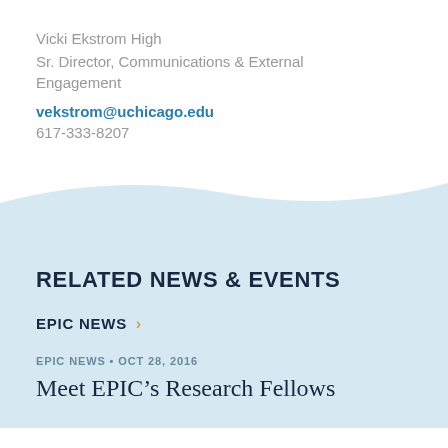Vicki Ekstrom High
Sr. Director, Communications & External Engagement
vekstrom@uchicago.edu
617-333-8207
RELATED NEWS & EVENTS
EPIC NEWS >
EPIC NEWS • OCT 28, 2016
Meet EPIC's Research Fellows